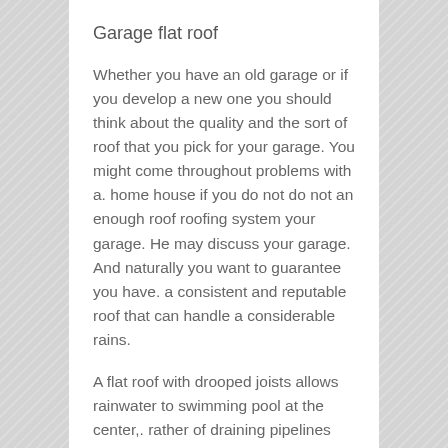Garage flat roof
Whether you have an old garage or if you develop a new one you should think about the quality and the sort of roof that you pick for your garage. You might come throughout problems with a. home house if you do not do not an enough roof roofing system your garage. He may discuss your garage. And naturally you want to guarantee you have. a consistent and reputable roof that can handle a considerable rains.
A flat roof with drooped joists allows rainwater to swimming pool at the center,. rather of draining pipelines towards the roof edges. This is a common.